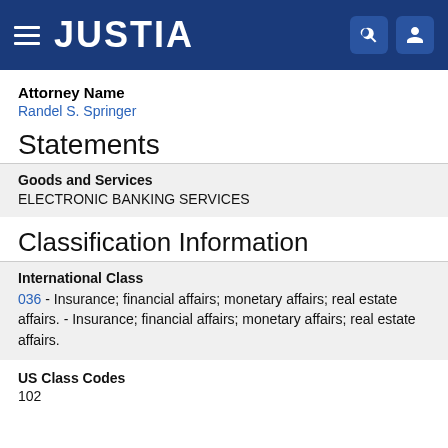JUSTIA
Attorney Name
Randel S. Springer
Statements
Goods and Services
ELECTRONIC BANKING SERVICES
Classification Information
International Class
036 - Insurance; financial affairs; monetary affairs; real estate affairs. - Insurance; financial affairs; monetary affairs; real estate affairs.
US Class Codes
102